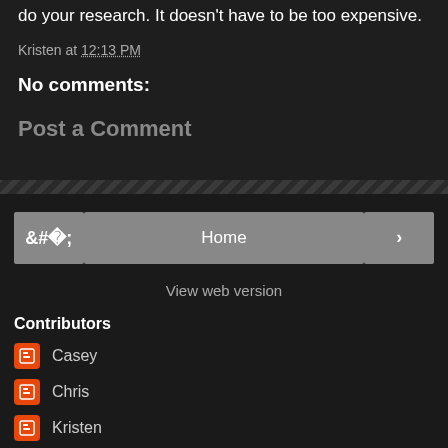do your research. It doesn't have to be too expensive.
Kristen at 12:13 PM
No comments:
Post a Comment
Home
View web version
Contributors
Casey
Chris
Kristen
Powered by Blogger.